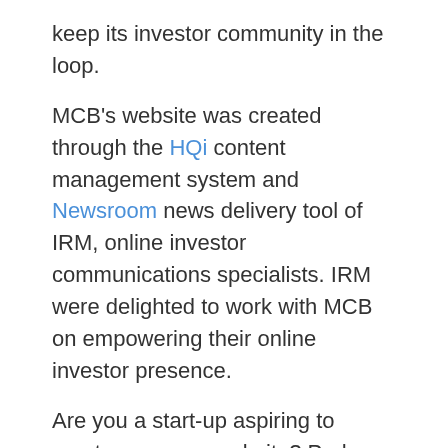keep its investor community in the loop.
MCB's website was created through the HQi content management system and Newsroom news delivery tool of IRM, online investor communications specialists. IRM were delighted to work with MCB on empowering their online investor presence.
Are you a start-up aspiring to create your own website? Perhaps you are a well-established company that just needs a website refresh? Help is just an email away: clientrelations@irmau.com. Better yet, call us today on +61 2 8705 5444 so we can get a head start.